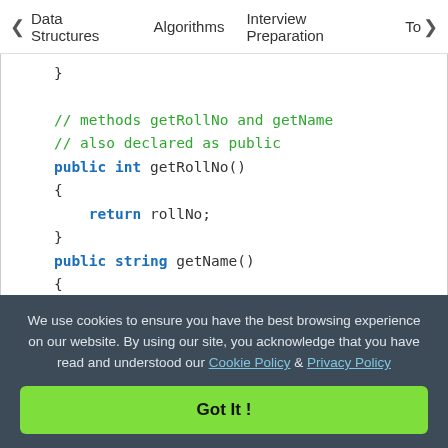< Data Structures   Algorithms   Interview Preparation   To>
[Figure (screenshot): Java code snippet showing closing brace, comment lines '// methods getRollNo and getName' and '// also declared as public', then public int getRollNo() method returning rollNo, public string getName() method returning name, closing braces, and start of class Program {]
We use cookies to ensure you have the best browsing experience on our website. By using our site, you acknowledge that you have read and understood our Cookie Policy & Privacy Policy
Got It !